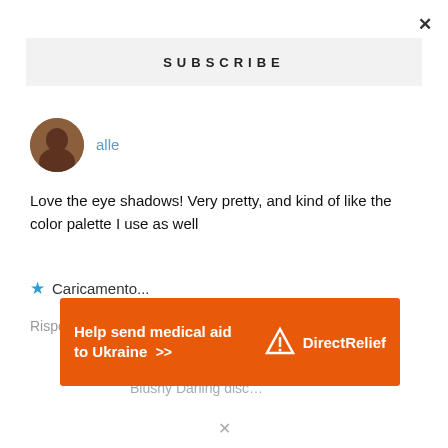×
SUBSCRIBE
[Figure (photo): Circular avatar photo of a person]
alle
Love the eye shadows! Very pretty, and kind of like the color palette I use as well
★ Caricamento...
Rispondi
Blushy Darling disc…
[Figure (infographic): Orange advertisement banner: 'Help send medical aid to Ukraine >>' with Direct Relief logo]
×